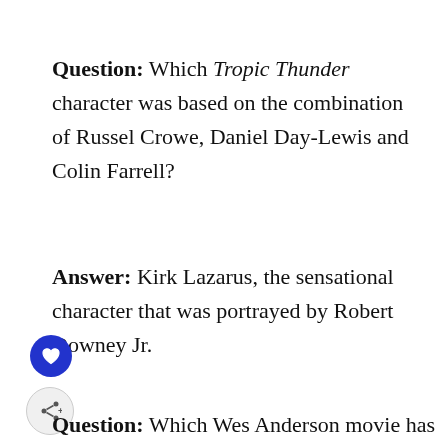Question: Which Tropic Thunder character was based on the combination of Russel Crowe, Daniel Day-Lewis and Colin Farrell?
Answer: Kirk Lazarus, the sensational character that was portrayed by Robert Downey Jr.
Question: Which Wes Anderson movie has